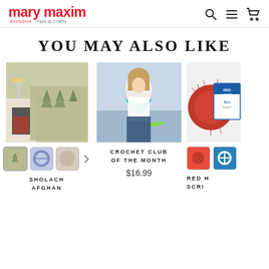[Figure (logo): Mary Maxim logo — red cursive text 'mary maxim', tagline 'Exclusive Yarn & Crafts']
YOU MAY ALSO LIKE
[Figure (photo): Photo of a green tree-patterned crochet afghan draped on a couch by a fireplace]
[Figure (photo): Photo of a woman wearing a teal and green crochet shawl outdoors near water]
[Figure (photo): Partial photo of a red fuzzy yarn ball with Red Heart Scrubby label]
SHOLACH AFGHAN
CROCHET CLUB OF THE MONTH
$16.99
RED H SCRI